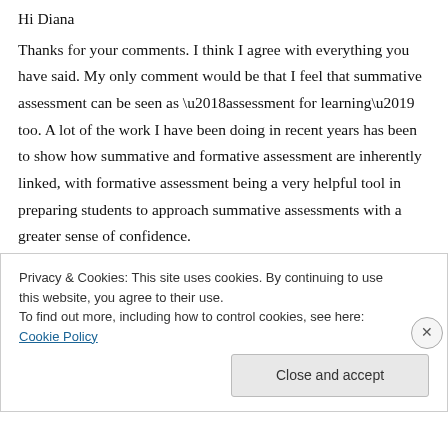Hi Diana
Thanks for your comments. I think I agree with everything you have said. My only comment would be that I feel that summative assessment can be seen as ‘assessment for learning’ too. A lot of the work I have been doing in recent years has been to show how summative and formative assessment are inherently linked, with formative assessment being a very helpful tool in preparing students to approach summative assessments with a greater sense of confidence.
Privacy & Cookies: This site uses cookies. By continuing to use this website, you agree to their use.
To find out more, including how to control cookies, see here: Cookie Policy